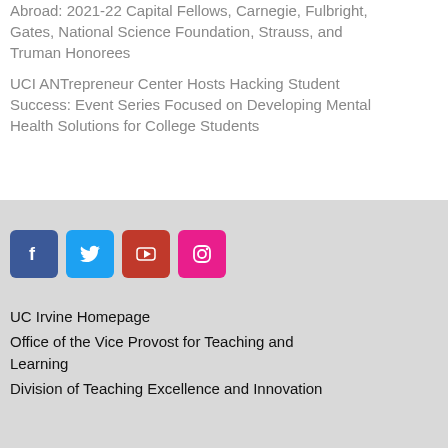Abroad: 2021-22 Capital Fellows, Carnegie, Fulbright, Gates, National Science Foundation, Strauss, and Truman Honorees
UCI ANTrepreneur Center Hosts Hacking Student Success: Event Series Focused on Developing Mental Health Solutions for College Students
[Figure (infographic): Social media icons: Facebook (blue), Twitter (light blue), YouTube (dark red), Instagram (pink/magenta)]
UC Irvine Homepage
Office of the Vice Provost for Teaching and Learning
Division of Teaching Excellence and Innovation